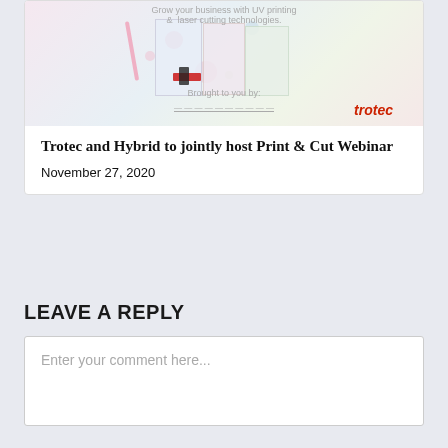[Figure (photo): Promotional image for Trotec UV printing and laser cutting webinar. Shows decorated boxes/products with floral patterns. Text overlay reads 'Grow your business with UV printing & laser cutting technologies.' and 'Brought to you by:' with Trotec branding in red italic text.]
Trotec and Hybrid to jointly host Print & Cut Webinar
November 27, 2020
LEAVE A REPLY
Enter your comment here...